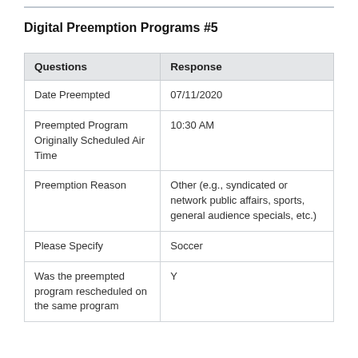Digital Preemption Programs #5
| Questions | Response |
| --- | --- |
| Date Preempted | 07/11/2020 |
| Preempted Program Originally Scheduled Air Time | 10:30 AM |
| Preemption Reason | Other (e.g., syndicated or network public affairs, sports, general audience specials, etc.) |
| Please Specify | Soccer |
| Was the preempted program rescheduled on the same program | Y |